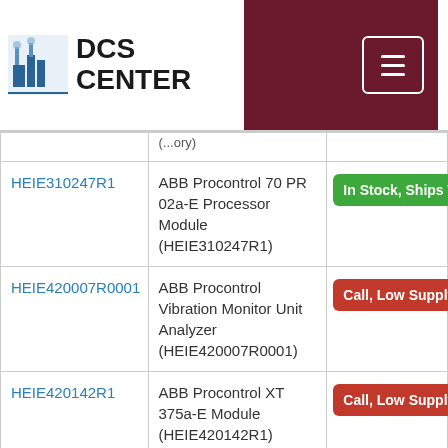[Figure (logo): DCS Center logo with industrial machinery icon and text 'DCS CENTER']
| Part Number | Description | Status |
| --- | --- | --- |
| HEIE310247R1 | ABB Procontrol 70 PR 02a-E Processor Module (HEIE310247R1) | In Stock, Ships T... |
| HEIE420007R0001 | ABB Procontrol Vibration Monitor Unit Analyzer (HEIE420007R0001) | Call, Low Supply... |
| HEIE420142R1 | ABB Procontrol XT 375a-E Module (HEIE420142R1) | Call, Low Supply... |
| HEIE420158R1 | ABB Procontrol XT 376a Module (HEIE420158R1) | Available, Can S... |
| HEIE420334R1 | ABB Procontrol DD... | Available, Can... |